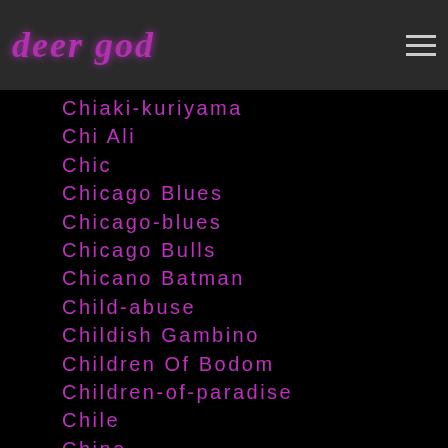deer god
Chiaki-kuriyama
Chi Ali
Chic
Chicago Blues
Chicago-blues
Chicago Bulls
Chicano Batman
Child-abuse
Childish Gambino
Children Of Bodom
Children-of-paradise
Chile
China
Chinua-achebe
Chords
Chris Claremont
Chris Cornell